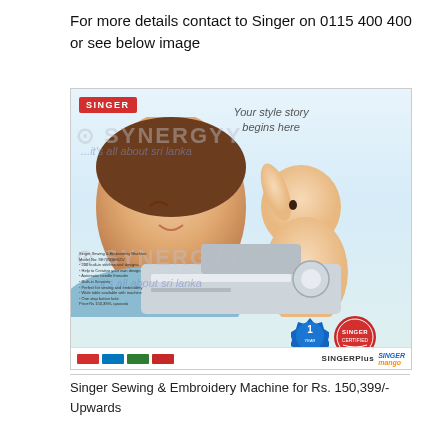For more details contact to Singer on 0115 400 400 or see below image
[Figure (photo): Singer advertisement showing a mother and baby with 'Your style story begins here' tagline, a Singer sewing and embroidery machine, warranty badge, Singer logo, and bottom bar with retailer logos including SINGERPlus and Singer Mango.]
Singer Sewing & Embroidery Machine for Rs. 150,399/- Upwards